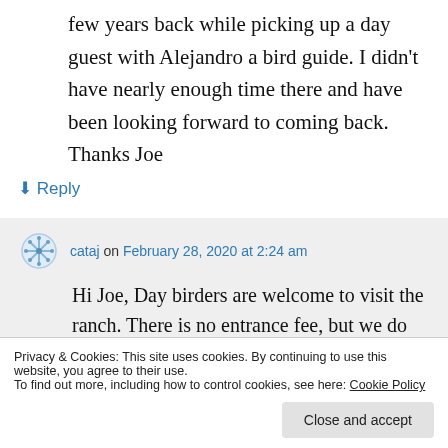few years back while picking up a day guest with Alejandro a bird guide. I didn't have nearly enough time there and have been looking forward to coming back. Thanks Joe
↳ Reply
cataj on February 28, 2020 at 2:24 am
Hi Joe, Day birders are welcome to visit the ranch. There is no entrance fee, but we do
noon, so I should see you when you arrive.
Privacy & Cookies: This site uses cookies. By continuing to use this website, you agree to their use.
To find out more, including how to control cookies, see here: Cookie Policy
Close and accept